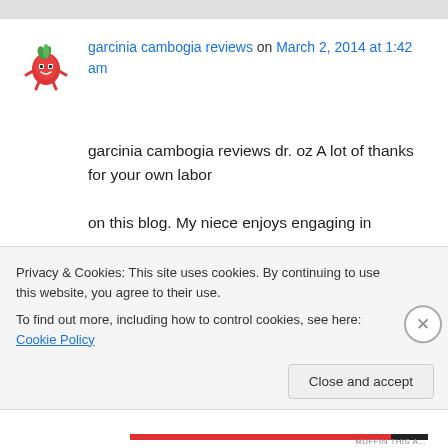garcinia cambogia reviews on March 2, 2014 at 1:42 am
garcinia cambogia reviews dr. oz A lot of thanks for your own labor on this blog. My niece enjoys engaging in
Privacy & Cookies: This site uses cookies. By continuing to use this website, you agree to their use.
To find out more, including how to control cookies, see here: Cookie Policy